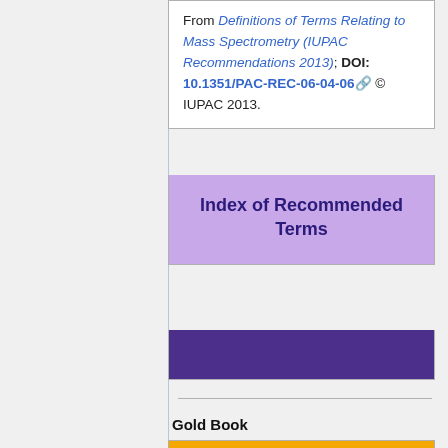From Definitions of Terms Relating to Mass Spectrometry (IUPAC Recommendations 2013); DOI: 10.1351/PAC-REC-06-04-06 © IUPAC 2013.
Index of Recommended Terms
Gold Book
GOLD BOOK DEFINITION
IUPAC. Compendium of Chemical